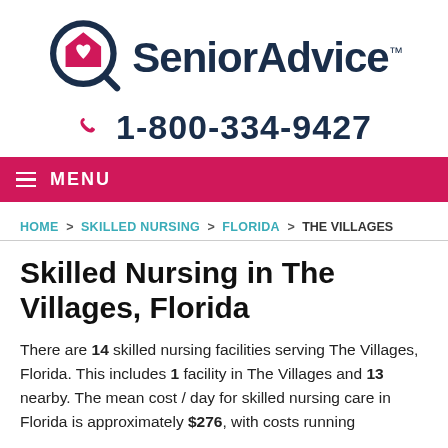[Figure (logo): SeniorAdvice logo with magnifying glass icon containing a house with heart, and the text 'SeniorAdvice™']
☎ 1-800-334-9427
≡ MENU
HOME > SKILLED NURSING > FLORIDA > THE VILLAGES
Skilled Nursing in The Villages, Florida
There are 14 skilled nursing facilities serving The Villages, Florida. This includes 1 facility in The Villages and 13 nearby. The mean cost / day for skilled nursing care in Florida is approximately $276, with costs running